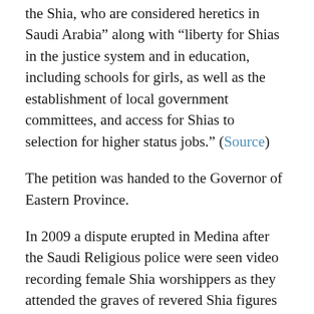the Shia, who are considered heretics in Saudi Arabia” along with “liberty for Shias in the justice system and in education, including schools for girls, as well as the establishment of local government committees, and access for Shias to selection for higher status jobs.” (Source)
The petition was handed to the Governor of Eastern Province.
In 2009 a dispute erupted in Medina after the Saudi Religious police were seen video recording female Shia worshippers as they attended the graves of revered Shia figures in Medina. The upshot of which was an escalation in the scale of the oppression of the Saudi Shia